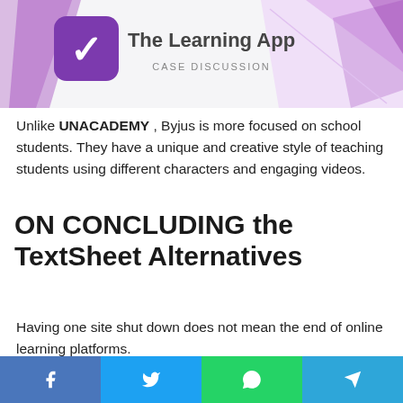[Figure (illustration): Banner image showing Byju's learning app logo (purple app icon with stylized 'b') alongside the text 'The Learning App' and subtitle 'CASE DISCUSSION' with purple geometric shapes on white/purple background]
Unlike UNACADEMY , Byjus is more focused on school students. They have a unique and creative style of teaching students using different characters and engaging videos.
ON CONCLUDING the TextSheet Alternatives
Having one site shut down does not mean the end of online learning platforms.
[Figure (infographic): Social share bar with four buttons: Facebook (blue), Twitter (light blue), WhatsApp (green), Telegram (blue)]